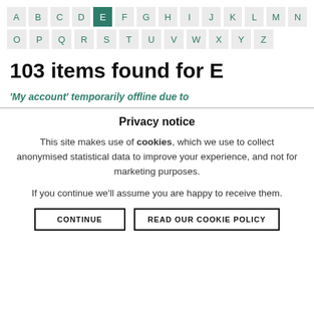[Figure (other): Alphabetical navigation grid with letters A-Z, letter E highlighted in teal/green]
103 items found for E
'My account' temporarily offline due to
Privacy notice
This site makes use of cookies, which we use to collect anonymised statistical data to improve your experience, and not for marketing purposes.
If you continue we'll assume you are happy to receive them.
CONTINUE   READ OUR COOKIE POLICY